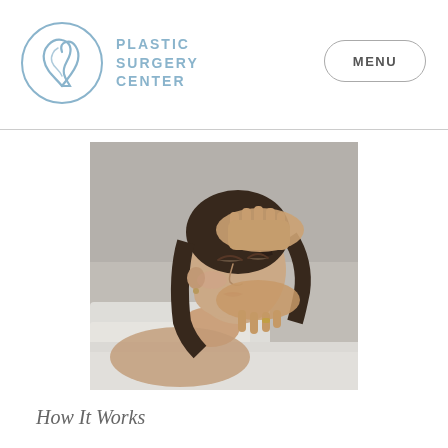PLASTIC SURGERY CENTER
[Figure (photo): Woman lying down with eyes closed receiving a facial massage treatment, with hands pressing gently on her temples and cheek. She is wrapped in white towels on a white surface in a spa or clinical setting.]
How It Works